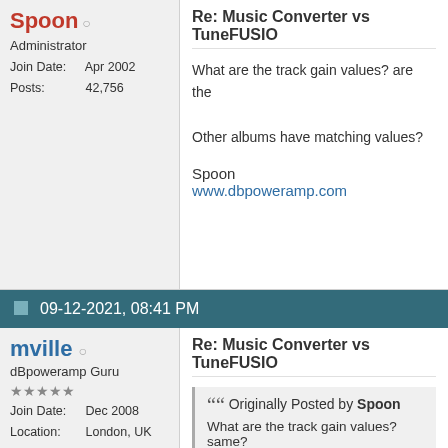Spoon
Administrator
Join Date: Apr 2002
Posts: 42,756
Re: Music Converter vs TuneFUSIO...
What are the track gain values? are the...
Other albums have matching values?
Spoon
www.dbpoweramp.com
09-12-2021, 08:41 PM
mville
dBpoweramp Guru
Join Date: Dec 2008
Location: London, UK
Posts: 3,952
Re: Music Converter vs TuneFUSIO...
Originally Posted by Spoon
What are the track gain values? same?
Music Converter R17.4...